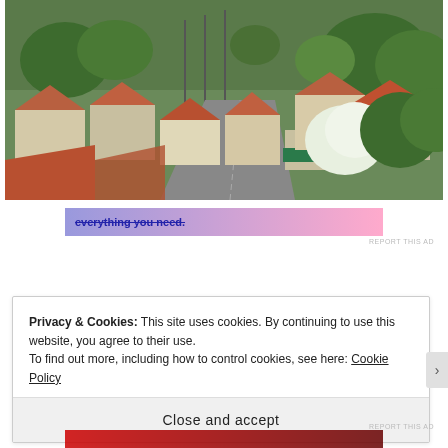[Figure (photo): Aerial/elevated view of a Latin American village with terracotta-roofed houses, white walls, green trees, and a road running through the center of the neighborhood.]
everything you need.
REPORT THIS AD
Privacy & Cookies: This site uses cookies. By continuing to use this website, you agree to their use.
To find out more, including how to control cookies, see here: Cookie Policy
Close and accept
REPORT THIS AD